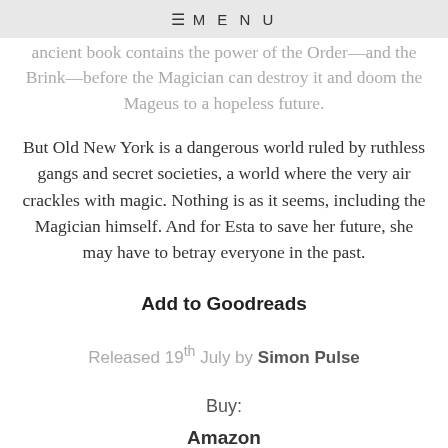≡ MENU
ancient book contains the power of the Order—and the Brink—before the Magician can destroy it and doom the Mageus to a hopeless future.
But Old New York is a dangerous world ruled by ruthless gangs and secret societies, a world where the very air crackles with magic. Nothing is as it seems, including the Magician himself. And for Esta to save her future, she may have to betray everyone in the past.
Add to Goodreads
Released 19th July by Simon Pulse
Buy:
Amazon